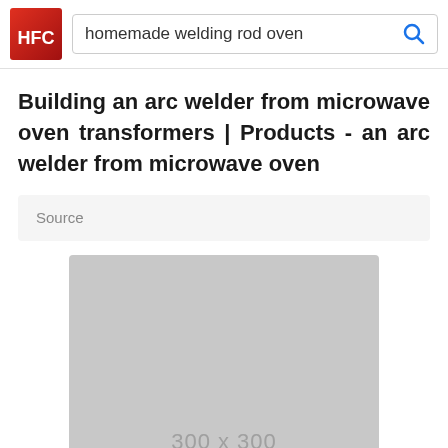[Figure (logo): Red gradient logo with letters HFC in white, square shape]
homemade welding rod oven
Building an arc welder from microwave oven transformers | Products - an arc welder from microwave oven
Source
[Figure (photo): Grey placeholder image labeled 300 x 300]